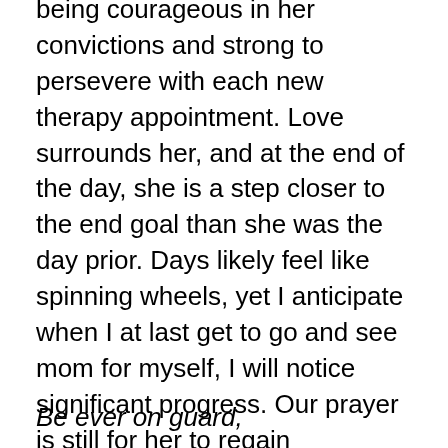being courageous in her convictions and strong to persevere with each new therapy appointment. Love surrounds her, and at the end of the day, she is a step closer to the end goal than she was the day prior. Days likely feel like spinning wheels, yet I anticipate when I at last get to go and see mom for myself, I will notice significant progress. Our prayer is still for her to regain movement in her right arm, as there really is none beyond small movements in her shoulder. Please pray with us for her right arm to be regained, and for her ongoing recovery to continue well.
Be ever on guard,